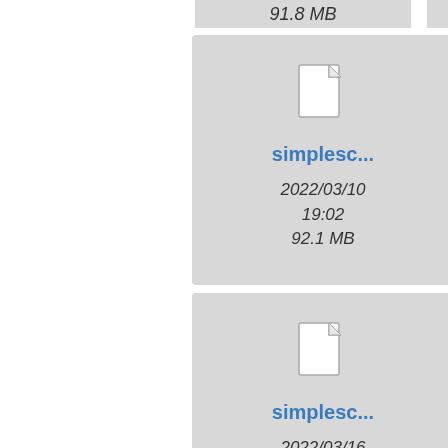91.8 MB
3.1 MB
[Figure (illustration): File icon for simplesc... file, dated 2022/03/10 19:02, 92.1 MB]
simplesc...
2022/03/10
19:02
92.1 MB
[Figure (illustration): File icon for simplesc... file, dated 2022/03/15 11:03, 95.3 MB]
simplesc...
2022/03/15
11:03
95.3 MB
si
20
[Figure (illustration): File icon for simplesc... file, dated 2022/03/16 15:18, 206.7 MB]
simplesc...
2022/03/16
15:18
206.7 MB
[Figure (illustration): File icon for simplesc... file, dated 2022/03/17 19:04, 67.1 MB]
simplesc...
2022/03/17
19:04
67.1 MB
si
20